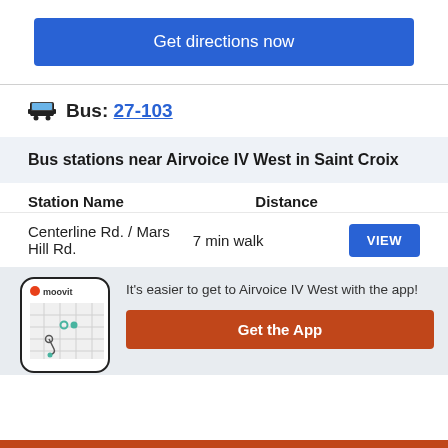Get directions now
Bus: 27-103
Bus stations near Airvoice IV West in Saint Croix
| Station Name | Distance |  |
| --- | --- | --- |
| Centerline Rd. / Mars Hill Rd. | 7 min walk | VIEW |
It's easier to get to Airvoice IV West with the app!
Get the App